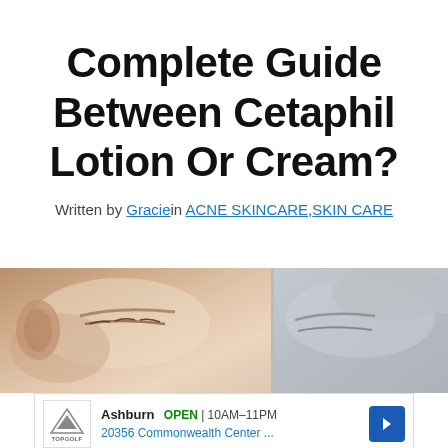Complete Guide Between Cetaphil Lotion Or Cream?
Written by Gracie in ACNE SKINCARE, SKIN CARE
[Figure (photo): Split image showing two close-up photos of women's faces with smooth skin — left side warm skin tone, right side cooler/lighter skin tone]
[Figure (screenshot): Advertisement for Topgolf Ashburn showing OPEN 10AM-11PM, 20356 Commonwealth Center..., with Topgolf logo and navigation arrow icon]